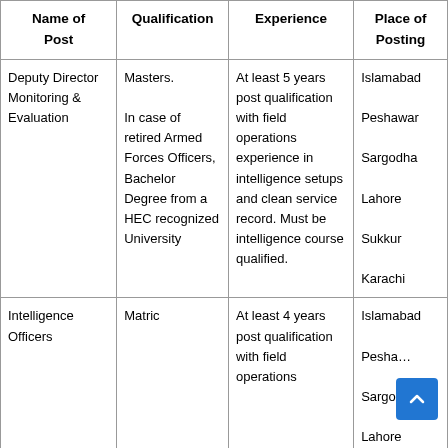| Name of Post | Qualification | Experience | Place of Posting |
| --- | --- | --- | --- |
| Deputy Director Monitoring & Evaluation | Masters. In case of retired Armed Forces Officers, Bachelor Degree from a HEC recognized University | At least 5 years post qualification with field operations experience in intelligence setups and clean service record. Must be intelligence course qualified. | Islamabad Peshawar Sargodha Lahore Sukkur Karachi |
| Intelligence Officers | Matric | At least 4 years post qualification with field operations | Islamabad Peshawar Sargodha Lahore |